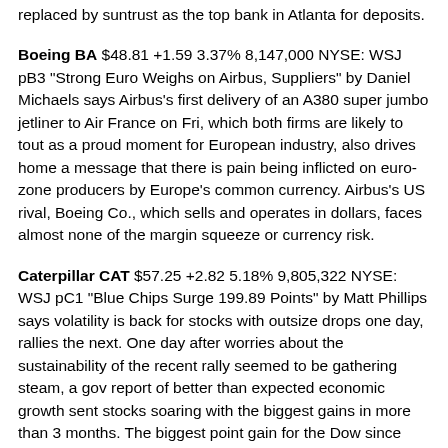replaced by suntrust as the top bank in Atlanta for deposits.
Boeing BA $48.81 +1.59 3.37% 8,147,000 NYSE: WSJ pB3 "Strong Euro Weighs on Airbus, Suppliers" by Daniel Michaels says Airbus's first delivery of an A380 super jumbo jetliner to Air France on Fri, which both firms are likely to tout as a proud moment for European industry, also drives home a message that there is pain being inflicted on euro-zone producers by Europe's common currency. Airbus's US rival, Boeing Co., which sells and operates in dollars, faces almost none of the margin squeeze or currency risk.
Caterpillar CAT $57.25 +2.82 5.18% 9,805,322 NYSE: WSJ pC1 "Blue Chips Surge 199.89 Points" by Matt Phillips says volatility is back for stocks with outsize drops one day, rallies the next. One day after worries about the sustainability of the recent rally seemed to be gathering steam, a gov report of better than expected economic growth sent stocks soaring with the biggest gains in more than 3 months. The biggest point gain for the Dow since July 15 and the biggest percentage gain since July 23 followed the three triple-digit losses in 4 trading days. Alcoa led the Dow's gains in